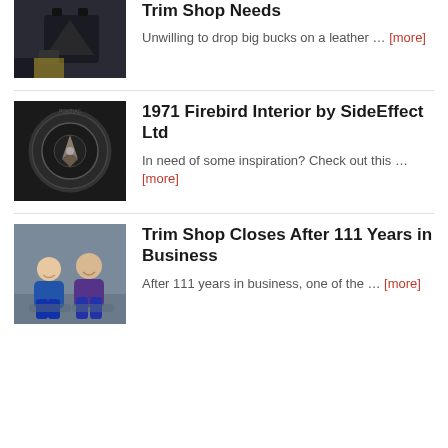Trim Shop Needs
Unwilling to drop big bucks on a leather … [more]
1971 Firebird Interior by SideEffect Ltd
In need of some inspiration? Check out this … [more]
Trim Shop Closes After 111 Years in Business
After 111 years in business, one of the … [more]